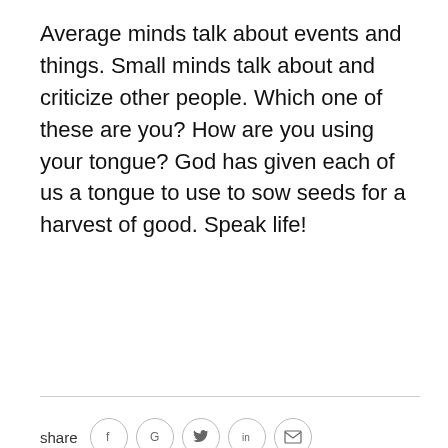Average minds talk about events and things. Small minds talk about and criticize other people. Which one of these are you? How are you using your tongue? God has given each of us a tongue to use to sow seeds for a harvest of good. Speak life!
[Figure (infographic): Social share buttons row: share label followed by circular icon buttons for Facebook (f), Google (G), Twitter (bird), LinkedIn (in), and email (envelope)]
[Figure (photo): Circular portrait photo of Robert Summers, an older man in a suit and tie, smiling]
Robert Summers